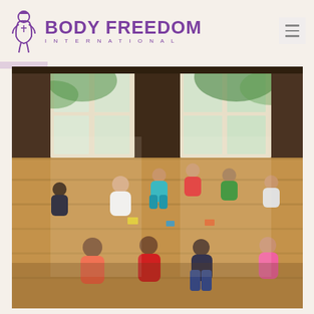BODY FREEDOM INTERNATIONAL
[Figure (photo): Group of children and an adult sitting in a circle on a wooden floor in a bright room with large glass-paned doors and windows, playing a card game together. The room has natural light and a view of green foliage outside.]